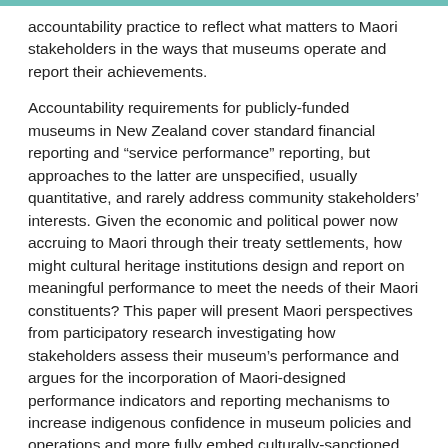accountability practice to reflect what matters to Maori stakeholders in the ways that museums operate and report their achievements.
Accountability requirements for publicly-funded museums in New Zealand cover standard financial reporting and “service performance” reporting, but approaches to the latter are unspecified, usually quantitative, and rarely address community stakeholders’ interests. Given the economic and political power now accruing to Maori through their treaty settlements, how might cultural heritage institutions design and report on meaningful performance to meet the needs of their Maori constituents? This paper will present Maori perspectives from participatory research investigating how stakeholders assess their museum’s performance and argues for the incorporation of Maori-designed performance indicators and reporting mechanisms to increase indigenous confidence in museum policies and operations and more fully embed culturally-sanctioned practice in the institutional management and interpretation of Maori heritage.
Drawing on Freeman’s stakeholder theory (1984), and using a novel empirical research design involving community stakeholders from many groups, we report on ongoing research